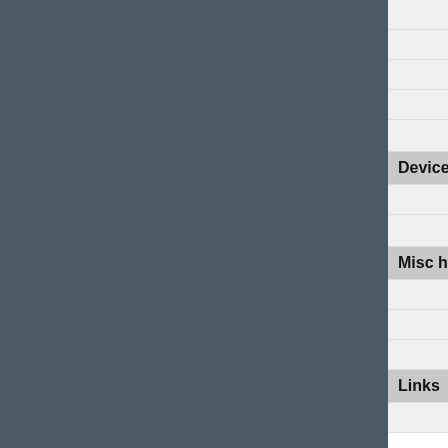| Label | Value |
| --- | --- |
|  | WPA |
|  | WPA |
| WiFi modes: | Repe… |
| internal antenna(s): | 2 |
| WPS (Wi-Fi Protected Setup): | ✔ |
| Device Management |  |
| Administration: | Web-… |
| Firmware upgradeable: | ✔ |
| Misc hardware info |  |
| Chipset: | Ralin… |
| RAM: | 64 M… |
| Flash Memory: | 4 Mb… |
| Links |  |
| Product page: | http:/… |
Please use the Add Comment function below descriptive). If you find an error in our daba product, please let us know
User Reviews/Comments:
by densciple 🎮 - 2013-04-23 05:57